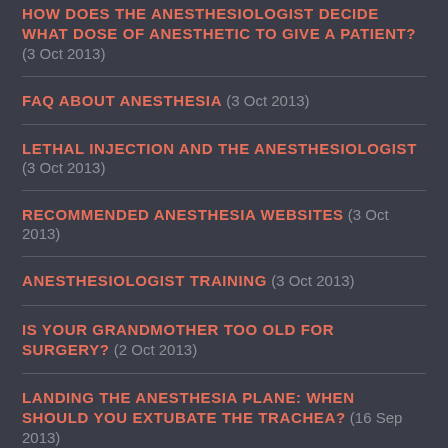HOW DOES THE ANESTHESIOLOGIST DECIDE WHAT DOSE OF ANESTHETIC TO GIVE A PATIENT?  (3 Oct 2013)
FAQ ABOUT ANESTHESIA  (3 Oct 2013)
LETHAL INJECTION AND THE ANESTHESIOLOGIST  (3 Oct 2013)
RECOMMENDED ANESTHESIA WEBSITES  (3 Oct 2013)
ANESTHESIOLOGIST TRAINING  (3 Oct 2013)
IS YOUR GRANDMOTHER TOO OLD FOR SURGERY?  (2 Oct 2013)
LANDING THE ANESTHESIA PLANE: WHEN SHOULD YOU EXTUBATE THE TRACHEA?  (16 Sep 2013)
WHY DOES ANYONE DECIDE THEY WANT TO BECOME AN ANESTHESIOLOGIST?  (11 Sep 2013)